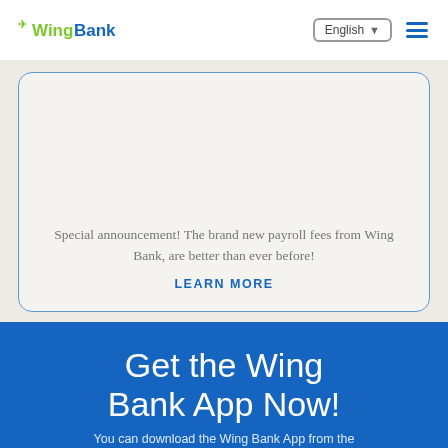[Figure (logo): Wing Bank logo with green bird icon and two-color wordmark]
English ▾
Special announcement! The brand new payroll fees from Wing Bank, are better than ever before!
LEARN MORE
Get the Wing Bank App Now!
You can download the Wing Bank App from the